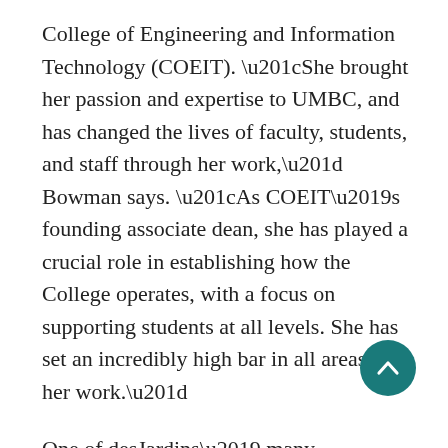College of Engineering and Information Technology (COEIT). “She brought her passion and expertise to UMBC, and has changed the lives of faculty, students, and staff through her work,” Bowman says. “As COEIT’s founding associate dean, she has played a crucial role in establishing how the College operates, with a focus on supporting students at all levels. She has set an incredibly high bar in all areas of her work.”
One of desJardins’ many accomplishments was the development and launch of UMBC’s Grand Challenge Scholars Program, based on the National Academy of Engineering’s (NAE) Grand Challenges for Engineering. The program is open to